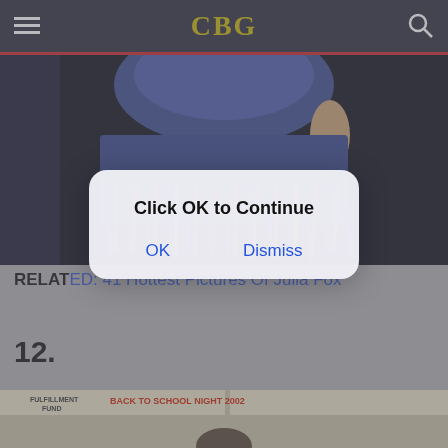CBG
[Figure (photo): Partial view of a person in a blue fringed dress/skirt against a dark background]
[Figure (screenshot): Modal dialog with text 'Click OK to Continue' and two buttons: OK and Dismiss]
RELATED: 41 Hottest Pictures Of Julia Fox
12.
[Figure (photo): Banner from Back to School Night 2002 Fulfillment Fund event, partially visible person at bottom]